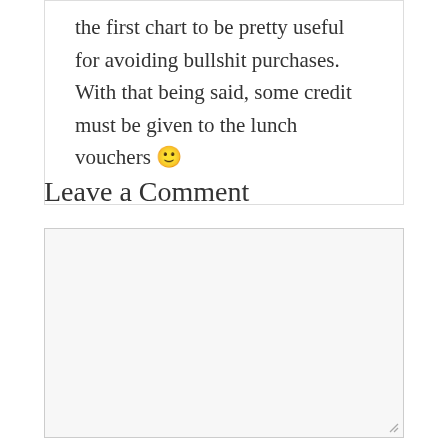the first chart to be pretty useful for avoiding bullshit purchases. With that being said, some credit must be given to the lunch vouchers 🙂
Leave a Comment
[Figure (other): Empty comment text area input field with light gray background and a resize handle in the bottom-right corner]